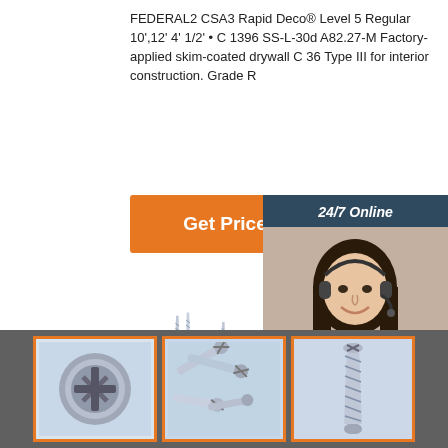FEDERAL2 CSA3 Rapid Deco® Level 5 Regular 10',12' 4' 1/2' • C 1396 SS-L-30d A82.27-M Factory-applied skim-coated drywall C 36 Type III for interior construction. Grade R
[Figure (illustration): Orange 'Get Price' button]
[Figure (illustration): Customer service widget with woman wearing headset, '24/7 Online' header, 'Click here for free chat!' text, and orange QUOTATION button]
[Figure (photo): Screws product images - main group of screws and three thumbnail images in orange-bordered frames on dark strip]
Click here for free chat !
QUOTATION
24/7 Online